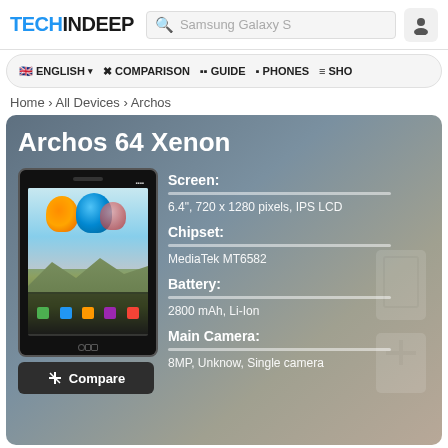TECHINDEEP  Samsung Galaxy S
ENGLISH  COMPARISON  GUIDE  PHONES  SHO
Home › All Devices › Archos
Archos 64 Xenon
[Figure (photo): Archos 64 Xenon smartphone front view showing hot air balloons on screen]
Compare
Screen:
6.4", 720 x 1280 pixels, IPS LCD
Chipset:
MediaTek MT6582
Battery:
2800 mAh, Li-Ion
Main Camera:
8MP, Unknow, Single camera